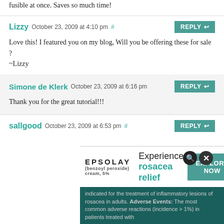fusible at once. Saves so much time!
Lizzy October 23, 2009 at 4:10 pm #
Love this! I featured you on my blog, Will you be offering these for sale ?
~Lizzy
Simone de Klerk October 23, 2009 at 6:16 pm
Thank you for the great tutorial!!!
sallgood October 23, 2009 at 6:53 pm #
[Figure (infographic): Advertisement for EPSOLAY (benzoyl peroxide cream 5%) - Experience rosacea relief, with EXPLORE NOW button and dark teal legal text about inflammatory lesions of rosacea. Adverse Events: The most common adverse reactions (incidence > 1%) in patients treated with...]